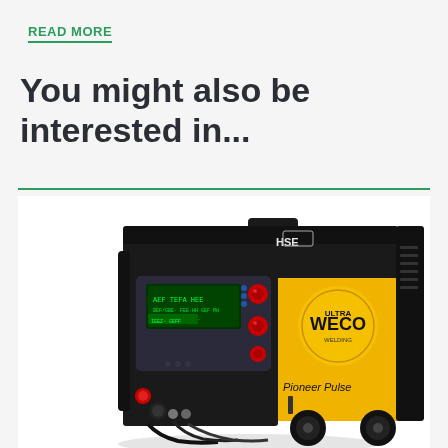READ MORE
You might also be interested in...
[Figure (photo): WECO Pioneer Pulse MIG/MAG welding machine, yellow and black industrial welder with digital display panel and wheels, HSE branded]